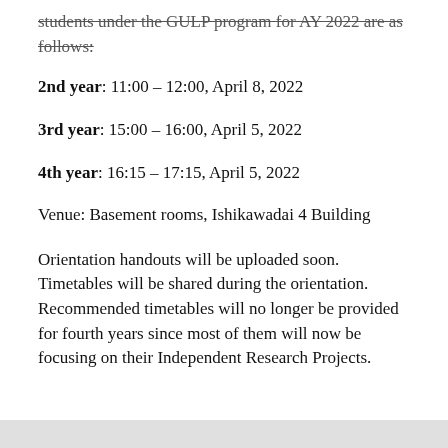students under the GULP program for AY 2022 are as follows:
2nd year: 11:00 – 12:00, April 8, 2022
3rd year: 15:00 – 16:00, April 5, 2022
4th year: 16:15 – 17:15, April 5, 2022
Venue: Basement rooms, Ishikawadai 4 Building
Orientation handouts will be uploaded soon. Timetables will be shared during the orientation. Recommended timetables will no longer be provided for fourth years since most of them will now be focusing on their Independent Research Projects.